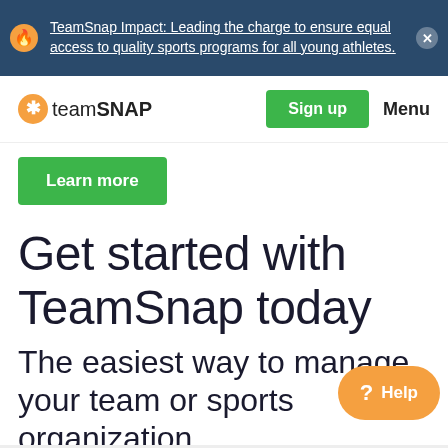TeamSnap Impact: Leading the charge to ensure equal access to quality sports programs for all young athletes.
[Figure (logo): TeamSnap logo with orange asterisk icon and text 'teamSNAP']
Sign up
Menu
Learn more
Get started with TeamSnap today
The easiest way to manage your team or sports organization
? Help